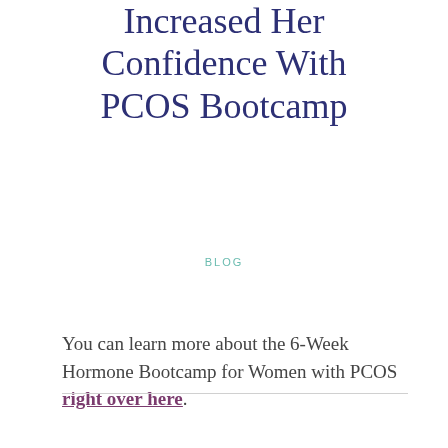Increased Her Confidence With PCOS Bootcamp
BLOG
You can learn more about the 6-Week Hormone Bootcamp for Women with PCOS right over here.